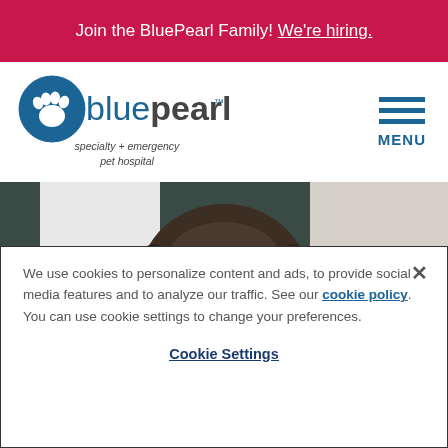Join the BluePearl Family! We're hiring.
[Figure (logo): BluePearl specialty + emergency pet hospital logo with paw icon]
[Figure (photo): Close-up photo of a dark gray/brindle pit bull type dog being held by person in white coat, facing camera with mouth slightly open]
We use cookies to personalize content and ads, to provide social media features and to analyze our traffic. See our cookie policy. You can use cookie settings to change your preferences.
Cookie Settings